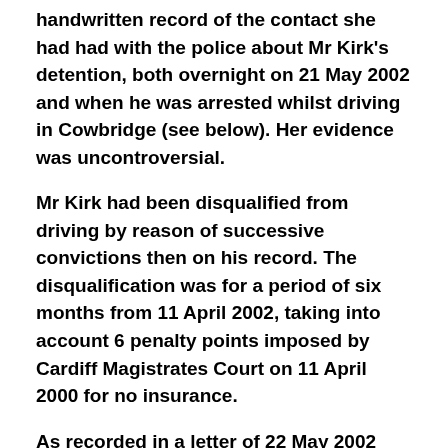handwritten record of the contact she had had with the police about Mr Kirk's detention, both overnight on 21 May 2002 and when he was arrested whilst driving in Cowbridge (see below). Her evidence was uncontroversial.
Mr Kirk had been disqualified from driving by reason of successive convictions then on his record. The disqualification was for a period of six months from 11 April 2002, taking into account 6 penalty points imposed by Cardiff Magistrates Court on 11 April 2000 for no insurance.
As recorded in a letter of 22 May 2002 (the day after arrest) from Cardiff Magistrates Court, under the hand of a T Dodson, 'Principal Legal Adviser', "Mr Kirk has convinced the Crown Prosecution Service that he did